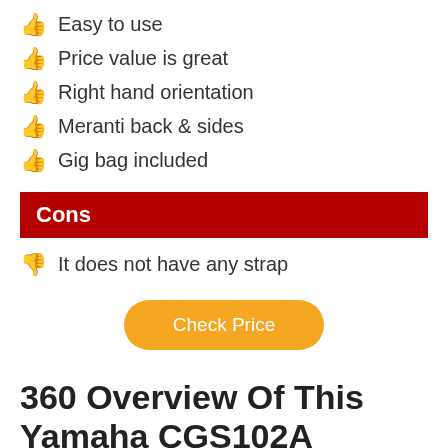Easy to use
Price value is great
Right hand orientation
Meranti back & sides
Gig bag included
Cons
It does not have any strap
Check Price
360 Overview Of This Yamaha CGS102A